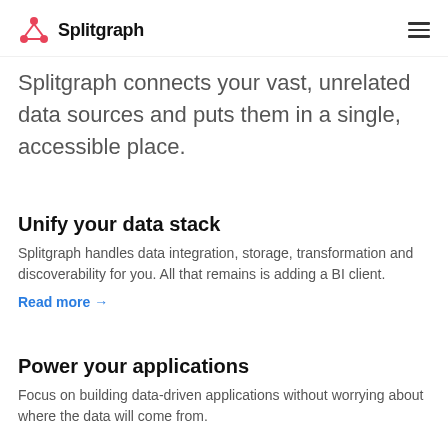Splitgraph
Splitgraph connects your vast, unrelated data sources and puts them in a single, accessible place.
Unify your data stack
Splitgraph handles data integration, storage, transformation and discoverability for you. All that remains is adding a BI client.
Read more →
Power your applications
Focus on building data-driven applications without worrying about where the data will come from.